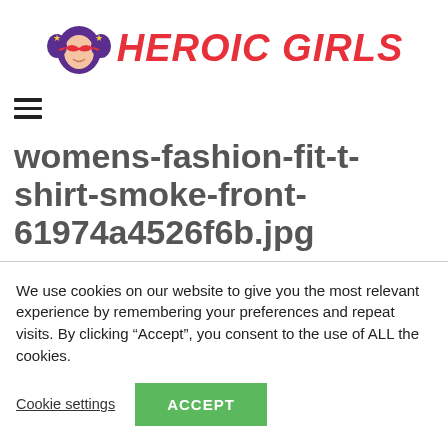[Figure (logo): Heroic Girls logo: purple cartoon girl face with red masquerade mask and yellow stars, next to bold red italic uppercase text 'HEROIC GIRLS']
[Figure (other): Hamburger menu icon: three horizontal black lines]
womens-fashion-fit-t-shirt-smoke-front-61974a4526f6b.jpg
We use cookies on our website to give you the most relevant experience by remembering your preferences and repeat visits. By clicking “Accept”, you consent to the use of ALL the cookies.
Cookie settings
ACCEPT